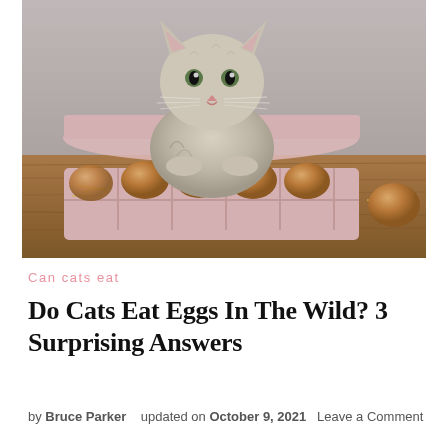[Figure (photo): A small grey tabby kitten sitting inside an open pink egg carton on a wooden surface, surrounded by brown eggs. One egg sits outside the carton to the right. Straw is visible around the eggs. Background is a grey/taupe wall.]
Can cats eat
Do Cats Eat Eggs In The Wild? 3 Surprising Answers
by Bruce Parker   updated on October 9, 2021   Leave a Comment